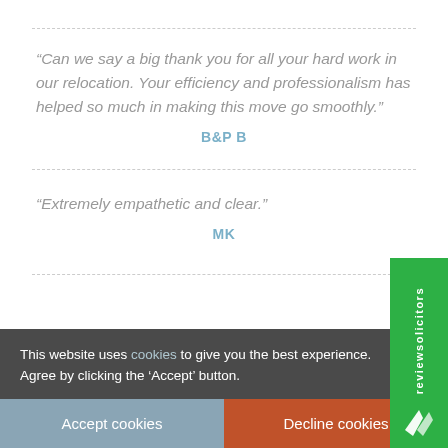“Can we say a big thank you for all your hard work in our relocation. Your efficiency and professionalism has helped so much in making this move go smoothly.”
B&P B
“Extremely empathetic and clear.”
MK
This website uses cookies to give you the best experience. Agree by clicking the ‘Accept’ button.
Accept cookies
Decline cookies